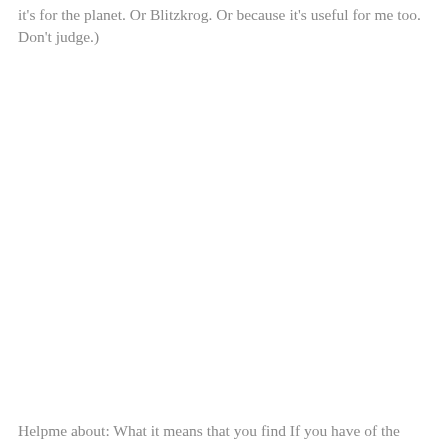it's for the planet. Or Blitzkrog. Or because it's useful for me too. Don't judge.)
Helpme about: What it means that you find If you have of the